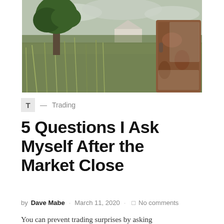[Figure (photo): Outdoor rural scene with tall green grass, a large tree on the left, a white farmhouse in the background, and a rusty old refrigerator door on the right side.]
T — Trading
5 Questions I Ask Myself After the Market Close
by Dave Mabe · March 11, 2020 · No comments
You can prevent trading surprises by asking